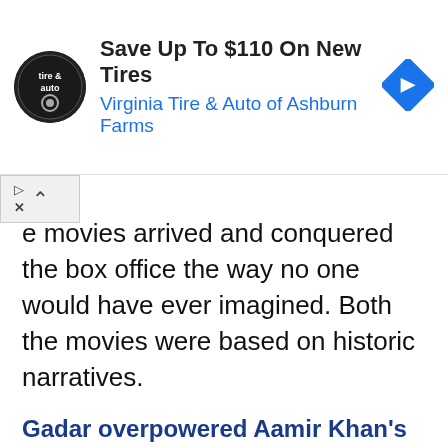[Figure (screenshot): Advertisement banner for Virginia Tire & Auto of Ashburn Farms with logo, text 'Save Up To $110 On New Tires', and blue arrow navigation icon]
e movies arrived and conquered the box office the way no one would have ever imagined. Both the movies were based on historic narratives.
Gadar overpowered Aamir Khan's Lagaan
It has been 21 years since the release of both films. Wait, what? There's always a better performer who throws out the respective competitor and, in this case, you'll be surprised to know which movie overpowered and managed to attract